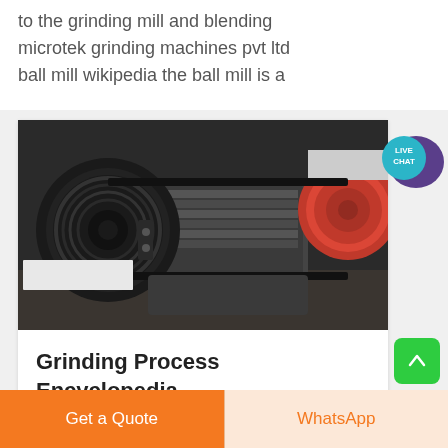to the grinding mill and blending microtek grinding machines pvt ltd ball mill wikipedia the ball mill is a
[Figure (photo): Industrial grinding/crushing machine with black flywheel and red pulley belts, heavy machinery close-up photo]
Grinding Process Encyclopedia
Get a Quote
WhatsApp